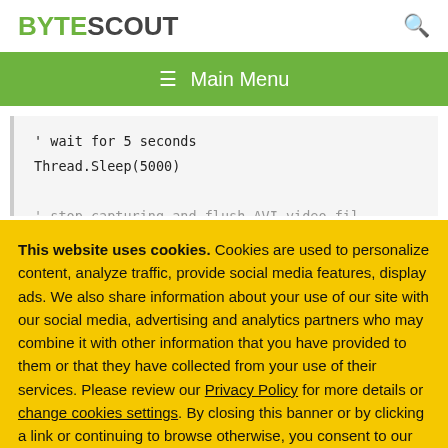BYTESCOUT
[Figure (screenshot): Navigation bar with hamburger menu icon and 'Main Menu' text on green background]
[Figure (screenshot): Code block showing: ' wait for 5 seconds
Thread.Sleep(5000)
' stop capturing and flush AVI video fil...]
This website uses cookies. Cookies are used to personalize content, analyze traffic, provide social media features, display ads. We also share information about your use of our site with our social media, advertising and analytics partners who may combine it with other information that you have provided to them or that they have collected from your use of their services. Please review our Privacy Policy for more details or change cookies settings. By closing this banner or by clicking a link or continuing to browse otherwise, you consent to our cookies.
OK